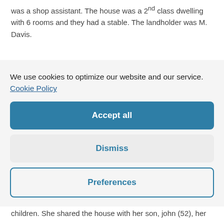was a shop assistant. The house was a 2nd class dwelling with 6 rooms and they had a stable. The landholder was M. Davis.
We use cookies to optimize our website and our service.  Cookie Policy
Accept all
Dismiss
Preferences
children. She shared the house with her son, john (52), her